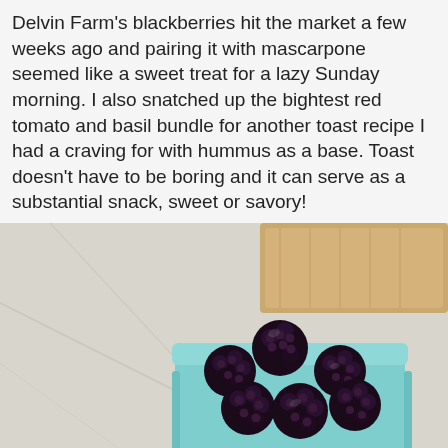Delvin Farm’s blackberries hit the market a few weeks ago and pairing it with mascarpone seemed like a sweet treat for a lazy Sunday morning. I also snatched up the bightest red tomato and basil bundle for another toast recipe I had a craving for with hummus as a base. Toast doesn’t have to be boring and it can serve as a substantial snack, sweet or savory!
[Figure (photo): A teal/mint colored square berry basket filled with fresh blackberries, photographed on a white marble surface with a wooden cutting board visible in the background.]
[Figure (infographic): Row of five green square social media share buttons: Facebook (f), Twitter (bird), Google+ (g+), Pinterest (p), and a plus (+) button.]